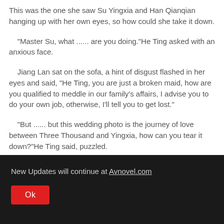This was the one she saw Su Yingxia and Han Qianqian hanging up with her own eyes, so how could she take it down.
"Master Su, what ...... are you doing."He Ting asked with an anxious face.
Jiang Lan sat on the sofa, a hint of disgust flashed in her eyes and said, "He Ting, you are just a broken maid, how are you qualified to meddle in our family's affairs, I advise you to do your own job, otherwise, I'll tell you to get lost."
"But ...... but this wedding photo is the journey of love between Three Thousand and Yingxia, how can you tear it down?"He Ting said, puzzled.
New Updates will continue at Avnovel.com
Ok